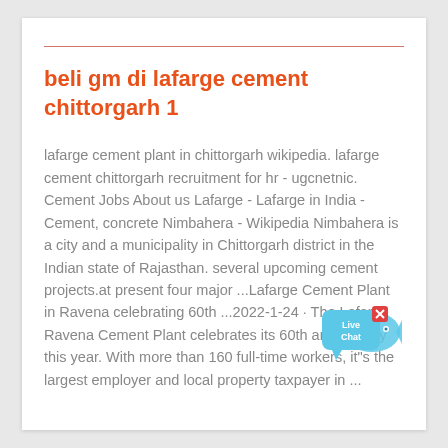beli gm di lafarge cement chittorgarh 1
lafarge cement plant in chittorgarh wikipedia. lafarge cement chittorgarh recruitment for hr - ugcnetnic. Cement Jobs About us Lafarge - Lafarge in India - Cement, concrete Nimbahera - Wikipedia Nimbahera is a city and a municipality in Chittorgarh district in the Indian state of Rajasthan. several upcoming cement projects.at present four major ...Lafarge Cement Plant in Ravena celebrating 60th ...2022-1-24 · The Lafarge Ravena Cement Plant celebrates its 60th anniversary this year. With more than 160 full-time workers, it"s the largest employer and local property taxpayer in ...
[Figure (illustration): Live Chat button with speech bubble icon and 'x' close button]